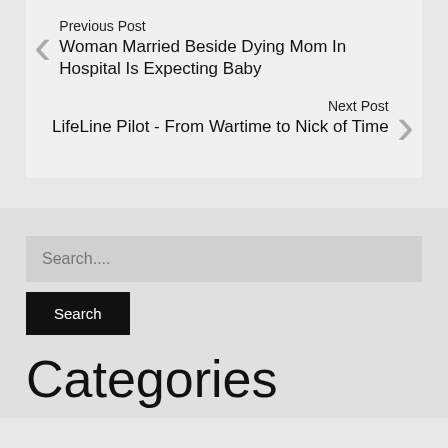Previous Post
Woman Married Beside Dying Mom In Hospital Is Expecting Baby
Next Post
LifeLine Pilot - From Wartime to Nick of Time
Search....
Search
Categories